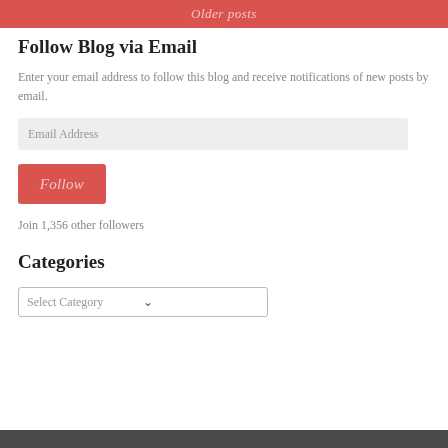Older posts
Follow Blog via Email
Enter your email address to follow this blog and receive notifications of new posts by email.
Email Address
Follow
Join 1,356 other followers
Categories
Select Category